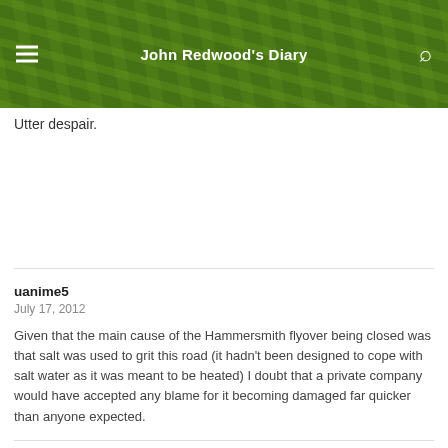[Figure (photo): Website header banner with green leafy plant background and navigation bar showing hamburger menu icon on left, 'John Redwood's Diary' title in center, and search icon on right]
Utter despair.
uanime5
July 17, 2012
Given that the main cause of the Hammersmith flyover being closed was that salt was used to grit this road (it hadn't been designed to cope with salt water as it was meant to be heated) I doubt that a private company would have accepted any blame for it becoming damaged far quicker than anyone expected.